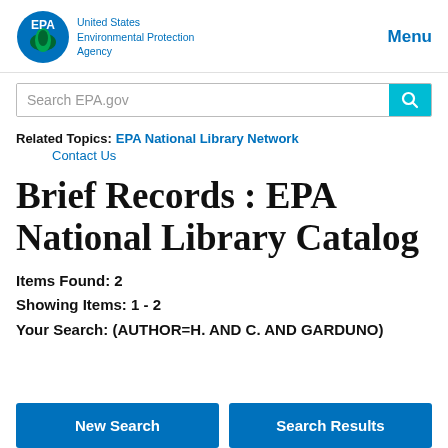[Figure (logo): EPA logo with circular emblem and text 'United States Environmental Protection Agency' in blue]
Menu
[Figure (screenshot): Search EPA.gov input bar with teal search button]
Related Topics: EPA National Library Network
Contact Us
Brief Records : EPA National Library Catalog
Items Found: 2
Showing Items: 1 - 2
Your Search: (AUTHOR=H. AND C. AND GARDUNO)
New Search    Search Results